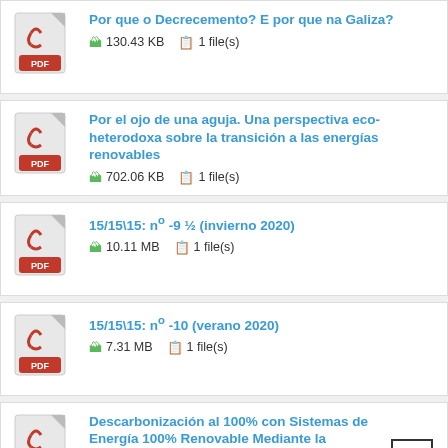Por que o Decrecemento? E por que na Galiza? — 130.43 KB, 1 file(s)
Por el ojo de una aguja. Una perspectiva eco-heterodoxa sobre la transición a las energías renovables — 702.06 KB, 1 file(s)
15/15\15: nº -9 ½ (invierno 2020) — 10.11 MB, 1 file(s)
15/15\15: nº -10 (verano 2020) — 7.31 MB, 1 file(s)
Descarbonización al 100% con Sistemas de Energía 100% Renovable Mediante la Conversión de Energía en Gas y la Electrificación Directa